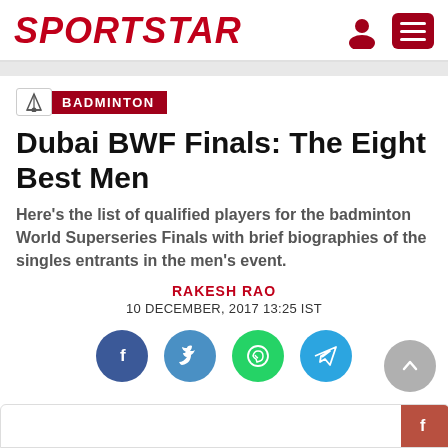SPORTSTAR
BADMINTON
Dubai BWF Finals: The Eight Best Men
Here's the list of qualified players for the badminton World Superseries Finals with brief biographies of the singles entrants in the men's event.
RAKESH RAO
10 DECEMBER, 2017 13:25 IST